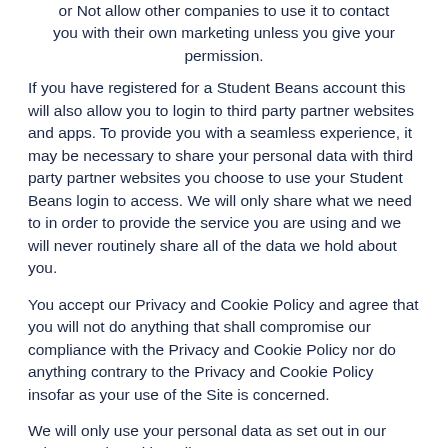or Not allow other companies to use it to contact you with their own marketing unless you give your permission.
If you have registered for a Student Beans account this will also allow you to login to third party partner websites and apps. To provide you with a seamless experience, it may be necessary to share your personal data with third party partner websites you choose to use your Student Beans login to access. We will only share what we need to in order to provide the service you are using and we will never routinely share all of the data we hold about you.
You accept our Privacy and Cookie Policy and agree that you will not do anything that shall compromise our compliance with the Privacy and Cookie Policy nor do anything contrary to the Privacy and Cookie Policy insofar as your use of the Site is concerned.
We will only use your personal data as set out in our Privacy and Cookie Policy.